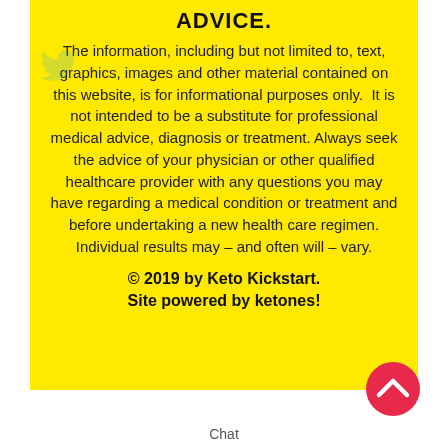ADVICE.
The information, including but not limited to, text, graphics, images and other material contained on this website, is for informational purposes only.  It is not intended to be a substitute for professional medical advice, diagnosis or treatment. Always seek the advice of your physician or other qualified healthcare provider with any questions you may have regarding a medical condition or treatment and before undertaking a new health care regimen. Individual results may – and often will – vary.
© 2019 by Keto Kickstart. Site powered by ketones!
Chat